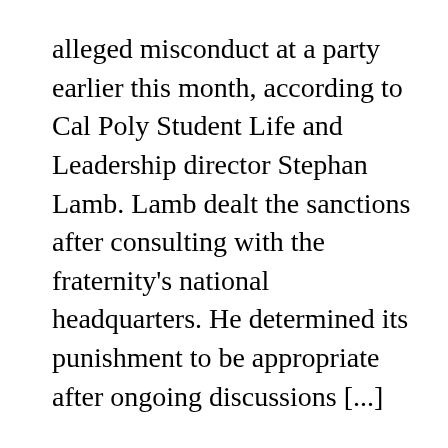alleged misconduct at a party earlier this month, according to Cal Poly Student Life and Leadership director Stephan Lamb. Lamb dealt the sanctions after consulting with the fraternity's national headquarters. He determined its punishment to be appropriate after ongoing discussions [...]